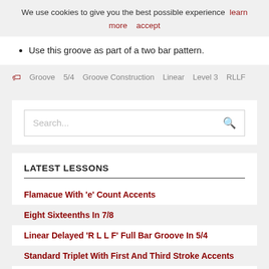We use cookies to give you the best possible experience  learn more  accept
Use this groove as part of a two bar pattern.
Groove  5/4  Groove Construction  Linear  Level 3  RLLF
Search...
LATEST LESSONS
Flamacue With 'e' Count Accents
Eight Sixteenths In 7/8
Linear Delayed 'R L L F' Full Bar Groove In 5/4
Standard Triplet With First And Third Stroke Accents
Eight Sixteenths In 5/8